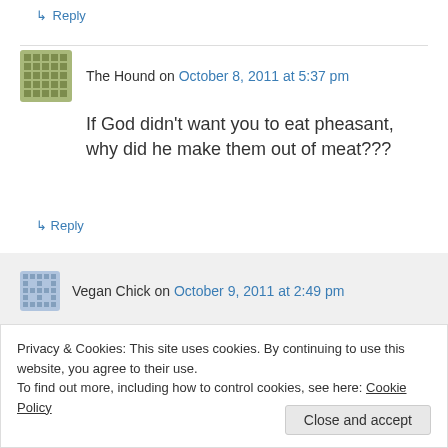↳ Reply
The Hound on October 8, 2011 at 5:37 pm
If God didn't want you to eat pheasant, why did he make them out of meat???
↳ Reply
Vegan Chick on October 9, 2011 at 2:49 pm
Privacy & Cookies: This site uses cookies. By continuing to use this website, you agree to their use.
To find out more, including how to control cookies, see here: Cookie Policy